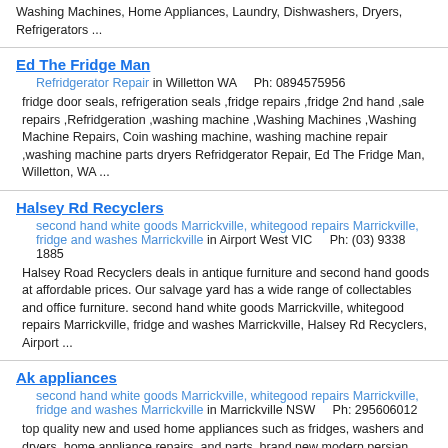Washing Machines, Home Appliances, Laundry, Dishwashers, Dryers, Refrigerators ...
Ed The Fridge Man
Refridgerator Repair in Willetton WA    Ph: 0894575956
fridge door seals, refrigeration seals ,fridge repairs ,fridge 2nd hand ,sale repairs ,Refridgeration ,washing machine ,Washing Machines ,Washing Machine Repairs, Coin washing machine, washing machine repair ,washing machine parts dryers Refridgerator Repair, Ed The Fridge Man, Willetton, WA ...
Halsey Rd Recyclers
second hand white goods Marrickville, whitegood repairs Marrickville, fridge and washes Marrickville in Airport West VIC    Ph: (03) 9338 1885
Halsey Road Recyclers deals in antique furniture and second hand goods at affordable prices. Our salvage yard has a wide range of collectables and office furniture. second hand white goods Marrickville, whitegood repairs Marrickville, fridge and washes Marrickville, Halsey Rd Recyclers, Airport ...
Ak appliances
second hand white goods Marrickville, whitegood repairs Marrickville, fridge and washes Marrickville in Marrickville NSW    Ph: 295606012
top quality new and used home appliances such as fridges, washers and dryers. home appliance repairs, and parts. brand new modern persian and